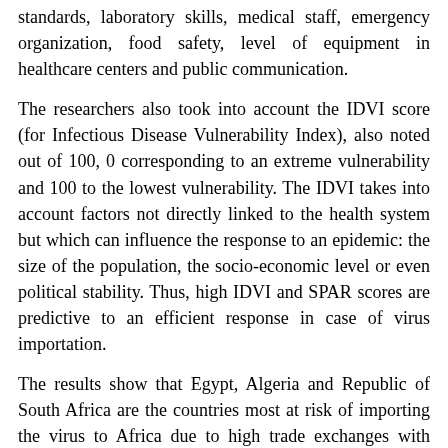standards, laboratory skills, medical staff, emergency organization, food safety, level of equipment in healthcare centers and public communication.
The researchers also took into account the IDVI score (for Infectious Disease Vulnerability Index), also noted out of 100, 0 corresponding to an extreme vulnerability and 100 to the lowest vulnerability. The IDVI takes into account factors not directly linked to the health system but which can influence the response to an epidemic: the size of the population, the socio-economic level or even political stability. Thus, high IDVI and SPAR scores are predictive to an efficient response in case of virus importation.
The results show that Egypt, Algeria and Republic of South Africa are the countries most at risk of importing the virus to Africa due to high trade exchanges with China. On the other hand, their SPAR and IDVI scores are among the best on the